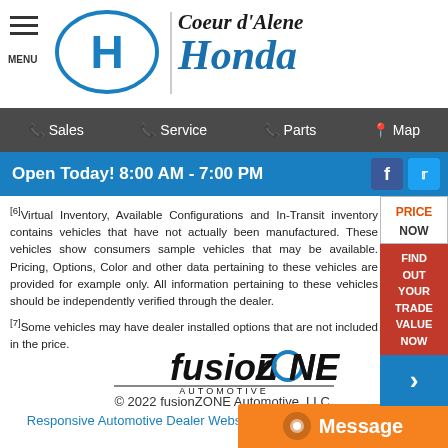Coeur d'Alene Honda
Sales | Service | Parts | Map
Open Today! 8:00 AM - 7:00 PM
[6]Virtual Inventory, Available Configurations and In-Transit inventory contains vehicles that have not actually been manufactured. These vehicles show consumers sample vehicles that may be available. Pricing, Options, Color and other data pertaining to these vehicles are provided for example only. All information pertaining to these vehicles should be independently verified through the dealer.
[7]Some vehicles may have dealer installed options that are not included in the price.
[Figure (logo): fusionZONE Automotive logo in black italic text with stylized 'O']
© 2022 fusionZONE Automotive, LLC.
Responsive Automotive Dealer Websites by fusionZONE Automotive